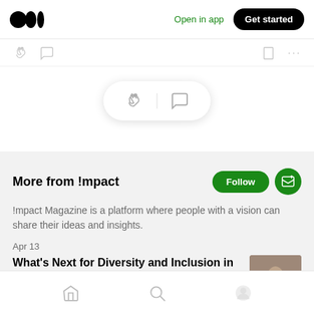Open in app  Get started
[Figure (screenshot): Medium app top navigation bar with logo, Open in app link, and Get started button]
[Figure (screenshot): Floating pill with clap and comment icons]
More from !mpact
!mpact Magazine is a platform where people with a vision can share their ideas and insights.
Apr 13
What's Next for Diversity and Inclusion in Wealth Management?-Mathew James...
Home  Search  Profile